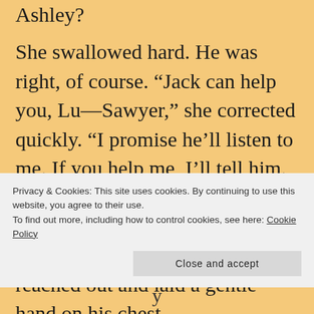Ashley?
She swallowed hard. He was right, of course. “Jack can help you, Lu—Sawyer,” she corrected quickly. “I promise he’ll listen to me. If you help me, I’ll tell him. He can get you a reduced sentence.” The urge to touch him overwhelmed her and she reached out and laid a gentle hand on his chest.
Privacy & Cookies: This site uses cookies. By continuing to use this website, you agree to their use.
To find out more, including how to control cookies, see here: Cookie Policy
Close and accept
y